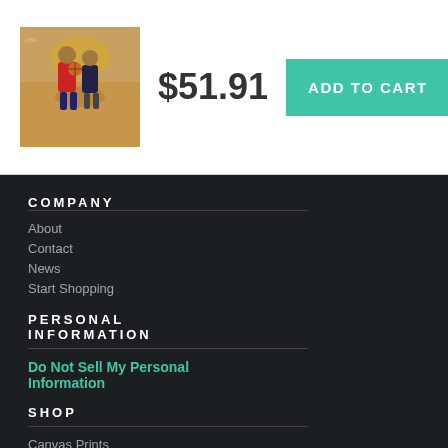[Figure (photo): Basketball player action photo thumbnail in a red jersey]
$51.91
ADD TO CART
COMPANY
About
Contact
News
Start Shopping
PERSONAL INFORMATION
Do Not Sell My Personal Information
SHOP
Canvas Prints
Framed Prints
Metal Prints
Acrylic Prints